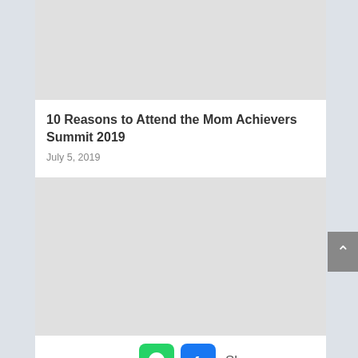[Figure (photo): Top article image placeholder (light gray rectangle)]
10 Reasons to Attend the Mom Achievers Summit 2019
July 5, 2019
[Figure (photo): Second article image placeholder (light gray rectangle) with WhatsApp and Facebook share buttons below]
Share